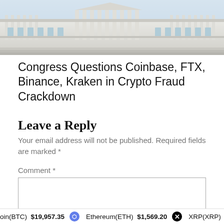[Figure (photo): Aerial view of a large neoclassical government building, likely the U.S. Capitol or similar legislative building, showing white stone columns and ornate architecture.]
Congress Questions Coinbase, FTX, Binance, Kraken in Crypto Fraud Crackdown
Leave a Reply
Your email address will not be published. Required fields are marked *
Comment *
oin(BTC) $19,957.35   Ethereum(ETH) $1,569.20   XRP(XRP)